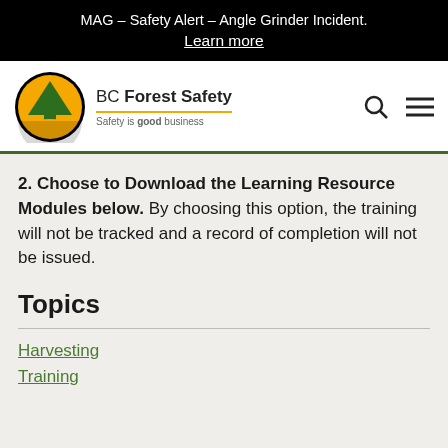MAG – Safety Alert – Angle Grinder Incident. Learn more
[Figure (logo): BC Forest Safety logo — circular yellow badge with green tree, text 'BC Forest Safety' and tagline 'Safety is good business']
2. Choose to Download the Learning Resource Modules below. By choosing this option, the training will not be tracked and a record of completion will not be issued.
Topics
Harvesting
Training